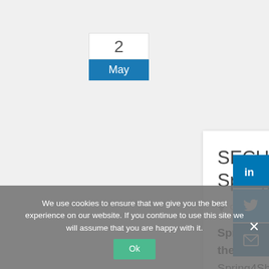2
May
SECUDE Security Bulletin on SpringShell vulnerability
cyber security, Data Protection
Spring4Shell is a server security vulnerability in the Spring Framework. Spring4Shell exposes an application to remote code execution, an attacker can
We use cookies to ensure that we give you the best experience on our website. If you continue to use this site we will assume that you are happy with it.